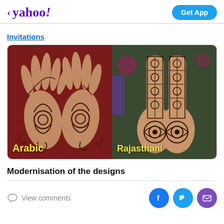< yahoo!  [Get App button]
Invitations
[Figure (photo): Two henna-decorated hands/arms side by side. Left image shows two hands with Arabic henna design on dark red background, labeled 'Arabic' in yellow. Right image shows hands/arms with Rajasthani henna design on dark green background, labeled 'Rajasthani' in yellow.]
Modernisation of the designs
View comments  [Facebook] [Twitter] [Email]